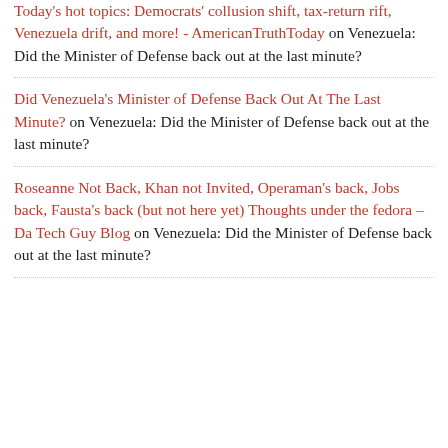Today's hot topics: Democrats' collusion shift, tax-return rift, Venezuela drift, and more! - AmericanTruthToday on Venezuela: Did the Minister of Defense back out at the last minute?
Did Venezuela's Minister of Defense Back Out At The Last Minute? on Venezuela: Did the Minister of Defense back out at the last minute?
Roseanne Not Back, Khan not Invited, Operaman's back, Jobs back, Fausta's back (but not here yet) Thoughts under the fedora – Da Tech Guy Blog on Venezuela: Did the Minister of Defense back out at the last minute?